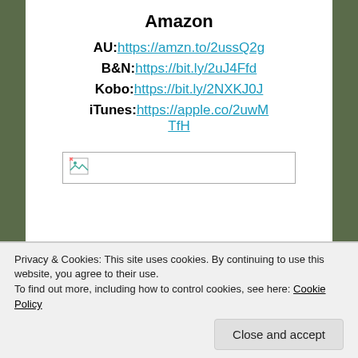Amazon
AU: https://amzn.to/2ussQ2g
B&N: https://bit.ly/2uJ4Ffd
Kobo: https://bit.ly/2NXKJ0J
iTunes: https://apple.co/2uwMTfH
[Figure (other): Broken image placeholder icon with border]
Privacy & Cookies: This site uses cookies. By continuing to use this website, you agree to their use.
To find out more, including how to control cookies, see here: Cookie Policy
Close and accept